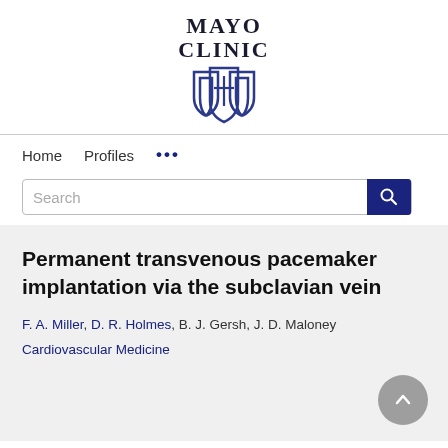[Figure (logo): Mayo Clinic logo with text 'MAYO CLINIC' and shield emblem in dark blue]
Home   Profiles   ...
Search
Permanent transvenous pacemaker implantation via the subclavian vein
F. A. Miller, D. R. Holmes, B. J. Gersh, J. D. Maloney
Cardiovascular Medicine